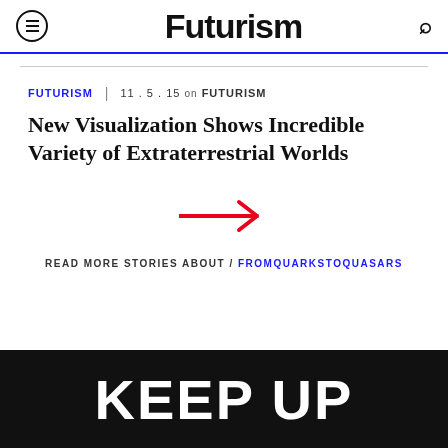Futurism
FUTURISM | 11. 5. 15 on FUTURISM
New Visualization Shows Incredible Variety of Extraterrestrial Worlds
[Figure (illustration): Red arrow pointing right, used as a navigation/next button]
READ MORE STORIES ABOUT / FROMQUARKSTOQUASARS
KEEP UP